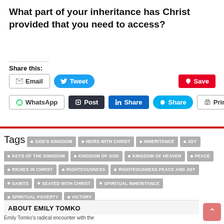What part of your inheritance has Christ provided that you need to access?
Share this:
Email | Tweet | Save | WhatsApp | Post | Share | Share | Print
Tags: GOD'S KINGDOM · HEIRS WITH CHRIST · INHERITANCE · JOY · KEYS OF THE KINGDOM · KINGDOM OF GOD · KINGDOM OF HEAVEN · PEACE · RICHES IN CHRIST · RIGHTEOUSNESS · RIGHTEOUSNESS PEACE AND JOY · SAINTS · SEATED WITH CHRIST · SPIRITUAL INHERITANCE · SPIRITUAL POVERTY · VICTORY
ABOUT EMILY TOMKO
Emily Tomko's radical encounter with the